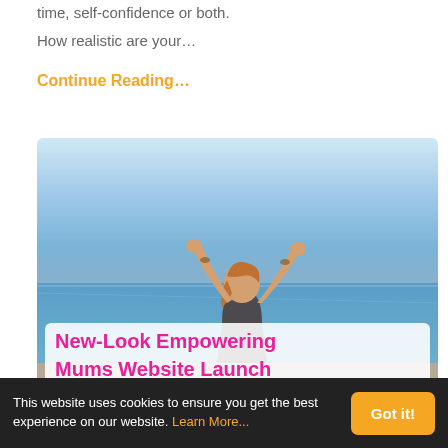time, self-confidence or both.
How realistic are your...
Continue Reading...
[Figure (photo): Woman with arms raised joyfully against a blue ocean/sea background, smiling, with an overlaid white semi-transparent card at the bottom.]
New-Look Empowering Mums Website Launch
This website uses cookies to ensure you get the best experience on our website. Learn More...